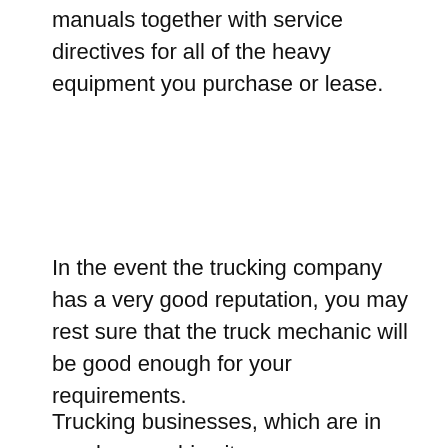manuals together with service directives for all of the heavy equipment you purchase or lease.
In the event the trucking company has a very good reputation, you may rest sure that the truck mechanic will be good enough for your requirements.
Trucking businesses, which are in nearly every big city